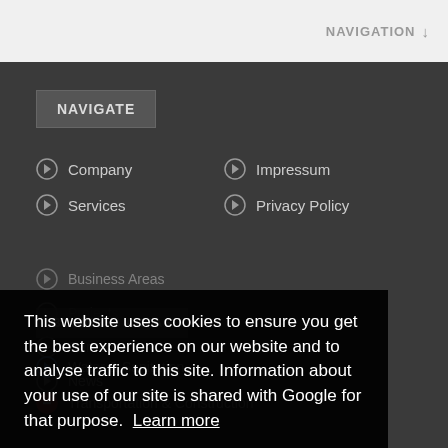NAVIGATION ↓
NAVIGATE
Company
Impressum
Services
Privacy Policy
Business Areas
Projects
Careers
News
This website uses cookies to ensure you get the best experience on our website and to analyse traffic to this site. Information about your use of our site is shared with Google for that purpose. Learn more
Got it!
BUSINESS AREAS
Water & Sanitation
Transportation & Construction